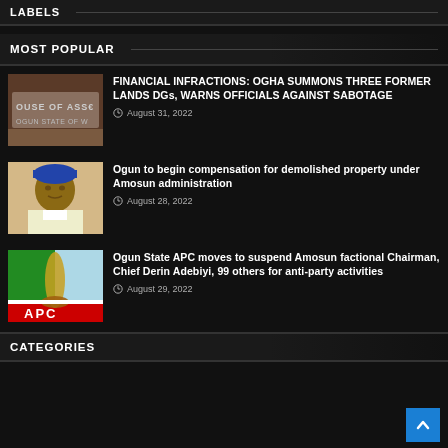LABELS
MOST POPULAR
[Figure (photo): Sign reading HOUSE OF ASSEMBLY, OGUN STATE OF...]
FINANCIAL INFRACTIONS: OGHA SUMMONS THREE FORMER LANDS DGs, WARNS OFFICIALS AGAINST SABOTAGE
August 31, 2022
[Figure (photo): Portrait photo of a man wearing a blue traditional cap]
Ogun to begin compensation for demolished property under Amosun administration
August 28, 2022
[Figure (photo): APC party logo with Nigerian flag colors and broom symbol]
Ogun State APC moves to suspend Amosun factional Chairman, Chief Derin Adebiyi, 99 others for anti-party activities
August 29, 2022
CATEGORIES